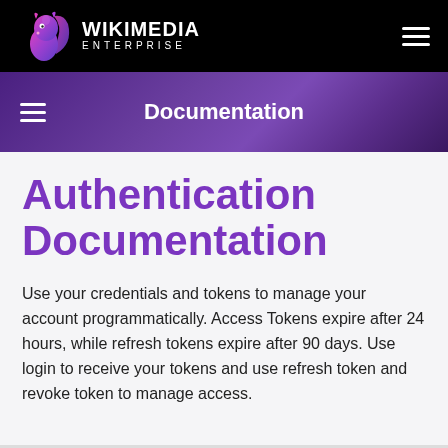[Figure (logo): Wikimedia Enterprise logo: stylized squirrel icon in pink/purple gradient with 'WIKIMEDIA ENTERPRISE' text in white on black background]
Documentation
Authentication Documentation
Use your credentials and tokens to manage your account programmatically. Access Tokens expire after 24 hours, while refresh tokens expire after 90 days. Use login to receive your tokens and use refresh token and revoke token to manage access.